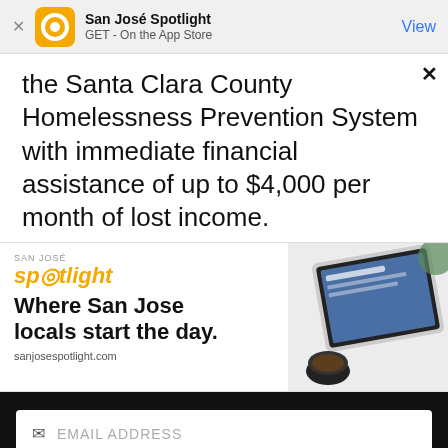San José Spotlight — GET - On the App Store — View
the Santa Clara County Homelessness Prevention System with immediate financial assistance of up to $4,000 per month of lost income.
[Figure (infographic): San José Spotlight advertisement banner with logo, tagline 'Where San Jose locals start the day.', website URL sanjosespotlight.com, and image of tablet and coffee]
EMAIL ADDRESS
SUBSCRIBE
Thanks, I'm not interested or already a subscriber